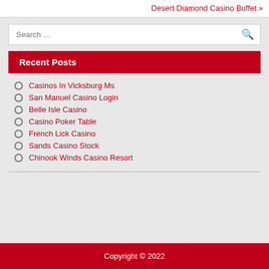Desert Diamond Casino Buffet »
Recent Posts
Casinos In Vicksburg Ms
San Manuel Casino Login
Belle Isle Casino
Casino Poker Table
French Lick Casino
Sands Casino Stock
Chinook Winds Casino Resort
Copyright © 2022